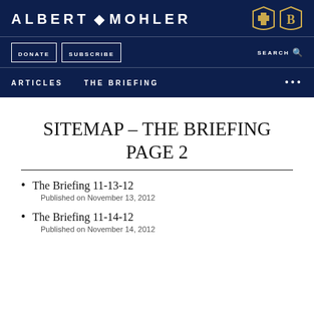ALBERT MOHLER
DONATE  SUBSCRIBE  SEARCH  ARTICLES  THE BRIEFING
SITEMAP – THE BRIEFING PAGE 2
The Briefing 11-13-12
Published on November 13, 2012
The Briefing 11-14-12
Published on November 14, 2012